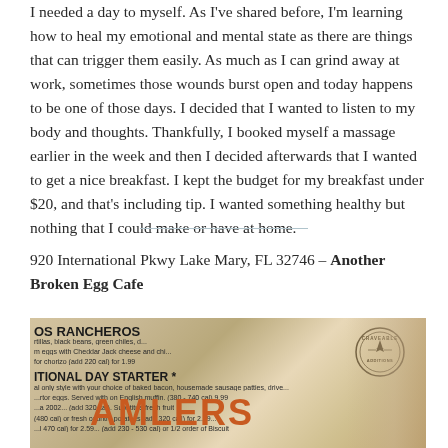I needed a day to myself. As I've shared before, I'm learning how to heal my emotional and mental state as there are things that can trigger them easily. As much as I can grind away at work, sometimes those wounds burst open and today happens to be one of those days. I decided that I wanted to listen to my body and thoughts. Thankfully, I booked myself a massage earlier in the week and then I decided afterwards that I wanted to get a nice breakfast. I kept the budget for my breakfast under $20, and that's including tip. I wanted something healthy but nothing that I could make or have at home.
920 International Pkwy Lake Mary, FL 32746 – Another Broken Egg Cafe
[Figure (photo): Close-up photo of a restaurant menu showing items including 'OS RANCHEROS', 'ADDITIONAL DAY STARTER', and partially visible text 'AMBLERS' in orange lettering, with a Craveable Additions badge/stamp visible in the upper right corner.]